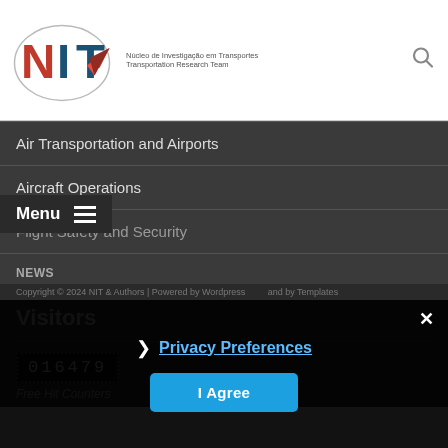[Figure (logo): NIT logo — Núcleo de Investigação em Transportes / Transportation Research Team with stylized N, I, T letters and paper airplane graphic]
Air Transportation and Airports
Aircraft Operations
Flight Safety and Security
NEWS
Visitors
016479
Free Hit Counters
Privacy Preferences
I Agree